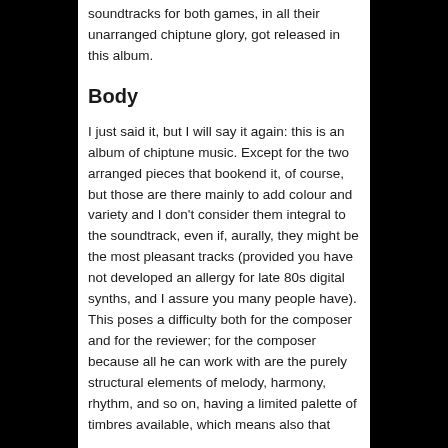soundtracks for both games, in all their unarranged chiptune glory, got released in this album.
Body
I just said it, but I will say it again: this is an album of chiptune music. Except for the two arranged pieces that bookend it, of course, but those are there mainly to add colour and variety and I don't consider them integral to the soundtrack, even if, aurally, they might be the most pleasant tracks (provided you have not developed an allergy for late 80s digital synths, and I assure you many people have). This poses a difficulty both for the composer and for the reviewer; for the composer because all he can work with are the purely structural elements of melody, harmony, rhythm, and so on, having a limited palette of timbres available, which means also that